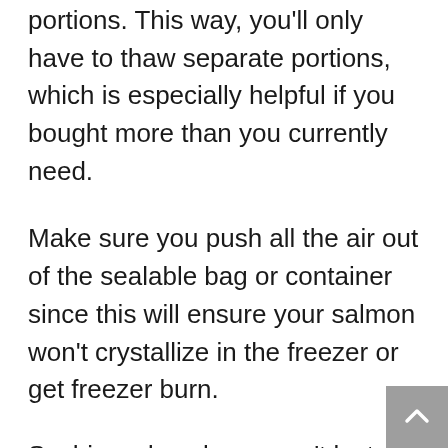portions. This way, you'll only have to thaw separate portions, which is especially helpful if you bought more than you currently need.
Make sure you push all the air out of the sealable bag or container since this will ensure your salmon won't crystallize in the freezer or get freezer burn.
Sushi-grade salmon won't last long, so it's usually best to consume it within 24 hours of purchase. If you've decided to store it, ensure you pack it tightly and label it before